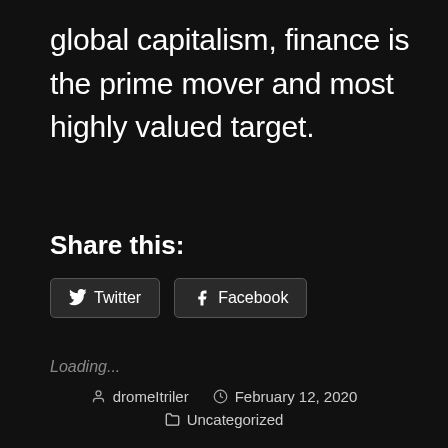global capitalism, finance is the prime mover and most highly valued target.
Share this:
Twitter  Facebook
Loading...
dromeItriler  February 12, 2020  Uncategorized